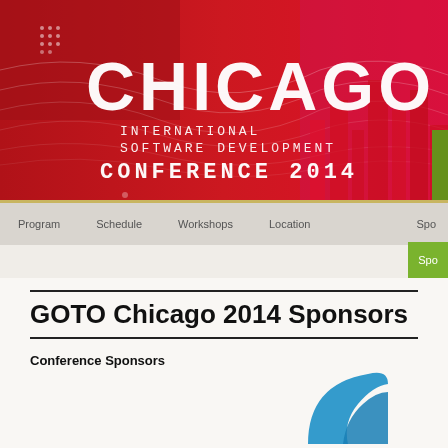[Figure (illustration): Chicago International Software Development Conference 2014 banner header with red background, decorative wave lines, dot patterns, city skyline silhouette, and white stylized text reading CHICAGO INTERNATIONAL SOFTWARE DEVELOPMENT CONFERENCE 2014]
Program | Schedule | Workshops | Location | Spo...
GOTO Chicago 2014 Sponsors
Conference Sponsors
[Figure (logo): Partial blue logo visible at bottom right of page]